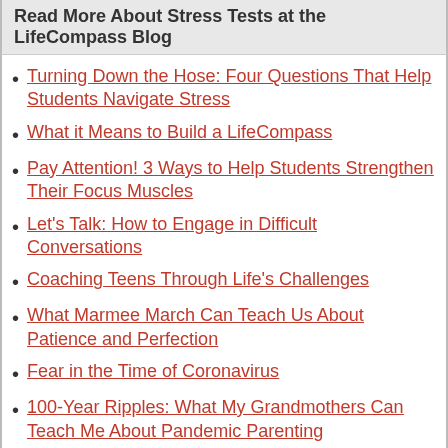Read More About Stress Tests at the LifeCompass Blog
Turning Down the Hose: Four Questions That Help Students Navigate Stress
What it Means to Build a LifeCompass
Pay Attention! 3 Ways to Help Students Strengthen Their Focus Muscles
Let's Talk: How to Engage in Difficult Conversations
Coaching Teens Through Life's Challenges
What Marmee March Can Teach Us About Patience and Perfection
Fear in the Time of Coronavirus
100-Year Ripples: What My Grandmothers Can Teach Me About Pandemic Parenting
Inspiration for Teens from Katherine Johnson and Other Exemplars